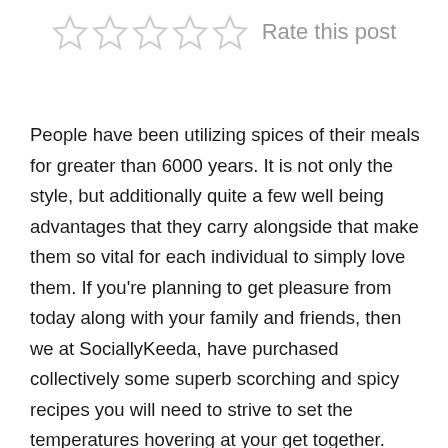[Figure (other): Five empty star rating icons followed by the text 'Rate this post']
People have been utilizing spices of their meals for greater than 6000 years. It is not only the style, but additionally quite a few well being advantages that they carry alongside that make them so vital for each individual to simply love them. If you're planning to get pleasure from today along with your family and friends, then we at SociallyKeeda, have purchased collectively some superb scorching and spicy recipes you will need to strive to set the temperatures hovering at your get together. Spicy Chilli Oil Ice Cream Sundae Launched By McDonald's China & While Some Try Wrapping Their Heads Around the New Type of Soft Serve,